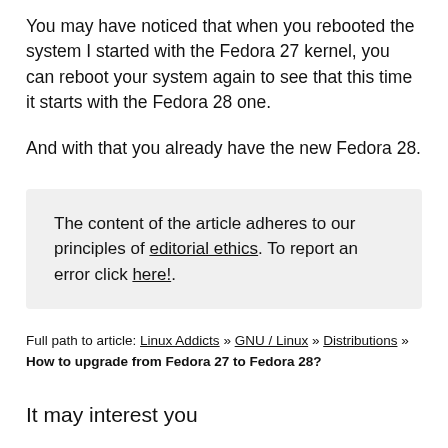You may have noticed that when you rebooted the system I started with the Fedora 27 kernel, you can reboot your system again to see that this time it starts with the Fedora 28 one.
And with that you already have the new Fedora 28.
The content of the article adheres to our principles of editorial ethics. To report an error click here!.
Full path to article: Linux Addicts » GNU / Linux » Distributions » How to upgrade from Fedora 27 to Fedora 28?
It may interest you